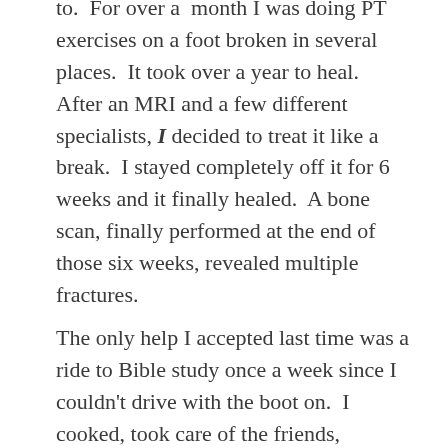to.  For over a  month I was doing PT exercises on a foot broken in several places.  It took over a year to heal.  After an MRI and a few different specialists, I decided to treat it like a break.  I stayed completely off it for 6 weeks and it finally healed.  A bone scan, finally performed at the end of those six weeks, revealed multiple fractures.
The only help I accepted last time was a ride to Bible study once a week since I couldn't drive with the boot on.  I cooked, took care of the friends, schlepped my broken foot all over town.  The hub got off scot free.